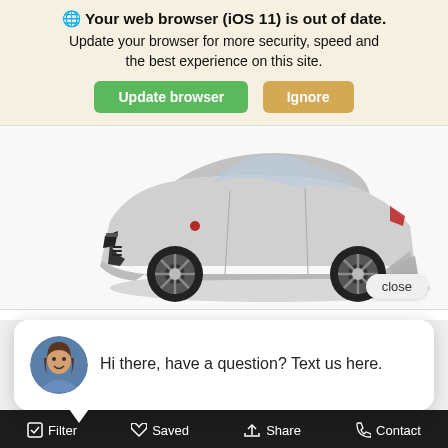🌐 Your web browser (iOS 11) is out of date. Update your browser for more security, speed and the best experience on this site. [Update browser] [Ignore]
[Figure (photo): Silver Porsche Cayenne SUV, front three-quarter view, on white background with shadow]
close
[Figure (screenshot): Chat popup bubble with female avatar and text: Hi there, have a question? Text us here.]
2022 P
MSRP
$95,020
Filter  Saved  Share  Contact